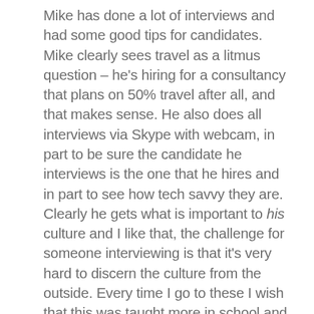Mike has done a lot of interviews and had some good tips for candidates. Mike clearly sees travel as a litmus question – he's hiring for a consultancy that plans on 50% travel after all, and that makes sense. He also does all interviews via Skype with webcam, in part to be sure the candidate he interviews is the one that he hires and in part to see how tech savvy they are. Clearly he gets what is important to his culture and I like that, the challenge for someone interviewing is that it's very hard to discern the culture from the outside. Every time I go to these I wish that this was taught more in school and more at events. I like seeing different takes on how to interview well, but I can understand why attendees might wind up frustrated because what one presenter values the next one doesn't (or even dislikes). Not simple.